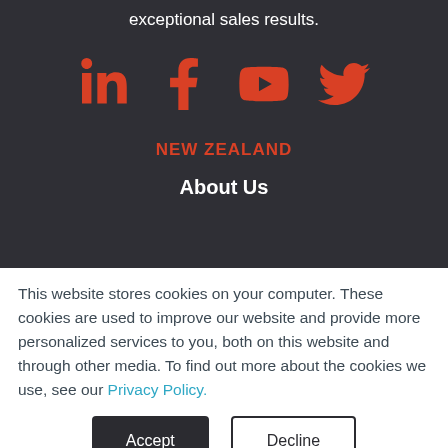exceptional sales results.
[Figure (other): Social media icons: LinkedIn, Facebook, YouTube, Twitter in red on dark background]
NEW ZEALAND
About Us
This website stores cookies on your computer. These cookies are used to improve our website and provide more personalized services to you, both on this website and through other media. To find out more about the cookies we use, see our Privacy Policy.
Accept | Decline